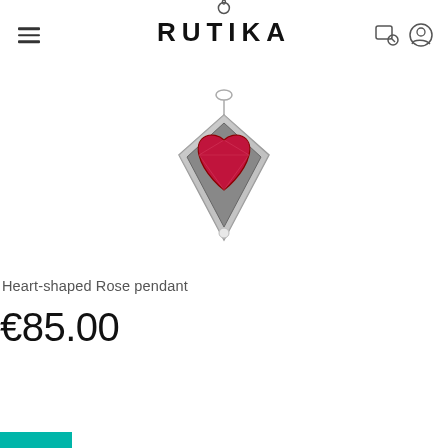RUTIKA
[Figure (photo): A heart-shaped rose pendant with a red gemstone and silver metallic setting, shown hanging against a white background.]
Heart-shaped Rose pendant
€85.00